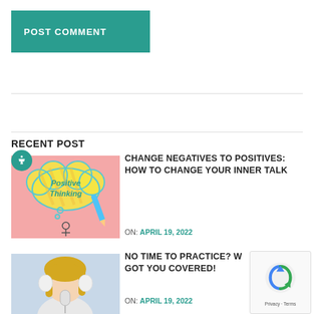POST COMMENT
RECENT POST
[Figure (illustration): Positive Thinking thought bubble illustration on pink background with pencils and stick figure]
CHANGE NEGATIVES TO POSITIVES: HOW TO CHANGE YOUR INNER TALK
ON: APRIL 19, 2022
[Figure (photo): Woman with blonde hair singing into a microphone wearing white headphones]
NO TIME TO PRACTICE? WE GOT YOU COVERED!
ON: APRIL 19, 2022